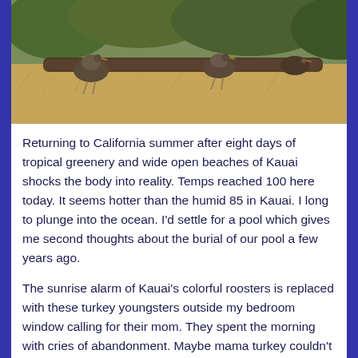[Figure (photo): Photo of turkey youngsters (chicks/poults) near a fallen log on dry grassy terrain with green foliage in the background.]
Returning to California summer after eight days of tropical greenery and wide open beaches of Kauai shocks the body into reality. Temps reached 100 here today. It seems hotter than the humid 85 in Kauai. I long to plunge into the ocean. I'd settle for a pool which gives me second thoughts about the burial of our pool a few years ago.
The sunrise alarm of Kauai's colorful roosters is replaced with these turkey youngsters outside my bedroom window calling for their mom. They spent the morning with cries of abandonment. Maybe mama turkey couldn't wait it out anymore. Maybe she needed to